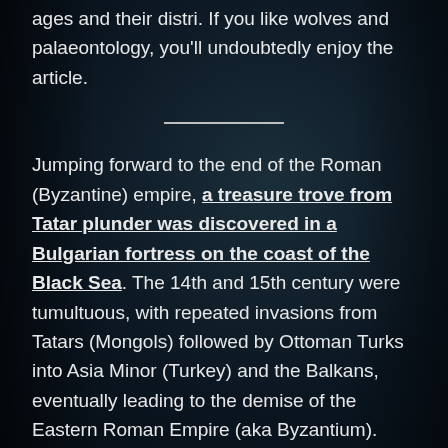ages and their distri. If you like wolves and palaeontology, you'll undoubtedly enjoy the article.
Jumping forward to the end of the Roman (Byzantine) empire, a treasure trove from Tatar plunder was discovered in a Bulgarian fortress on the coast of the Black Sea. The 14th and 15th century were tumultuous, with repeated invasions from Tatars (Mongols) followed by Ottoman Turks into Asia Minor (Turkey) and the Balkans, eventually leading to the demise of the Eastern Roman Empire (aka Byzantium).